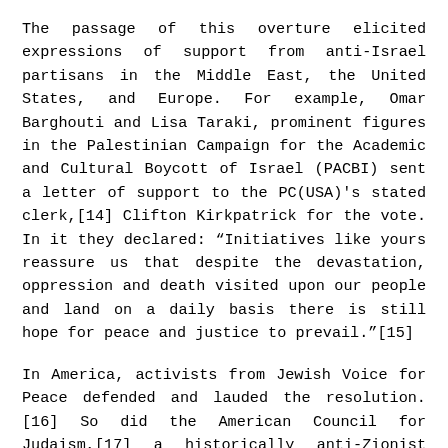The passage of this overture elicited expressions of support from anti-Israel partisans in the Middle East, the United States, and Europe. For example, Omar Barghouti and Lisa Taraki, prominent figures in the Palestinian Campaign for the Academic and Cultural Boycott of Israel (PACBI) sent a letter of support to the PC(USA)'s stated clerk,[14] Clifton Kirkpatrick for the vote. In it they declared: “Initiatives like yours reassure us that despite the devastation, oppression and death visited upon our people and land on a daily basis there is still hope for peace and justice to prevail.”[15]
In America, activists from Jewish Voice for Peace defended and lauded the resolution.[16] So did the American Council for Judaism,[17] a historically anti-Zionist organization that was acclaimed by the house